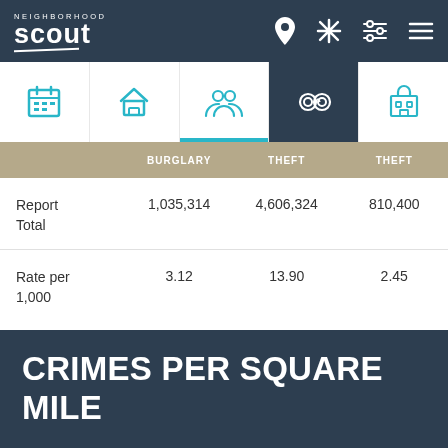Neighborhood Scout
|  | BURGLARY | THEFT | THEFT |
| --- | --- | --- | --- |
| Report Total | 1,035,314 | 4,606,324 | 810,400 |
| Rate per 1,000 | 3.12 | 13.90 | 2.45 |
CRIMES PER SQUARE MILE